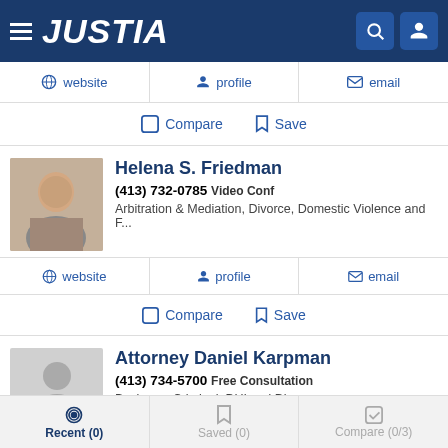[Figure (logo): Justia navigation bar with hamburger menu, JUSTIA logo, search and user icons]
website  profile  email
Compare  Save
Helena S. Friedman
(413) 732-0785 Video Conf
Arbitration & Mediation, Divorce, Domestic Violence and F...
website  profile  email
Compare  Save
Attorney Daniel Karpman
(413) 734-5700 Free Consultation
Business, Criminal, DUI and Divorce
Recent (0)  Saved (0)  Compare (0/3)